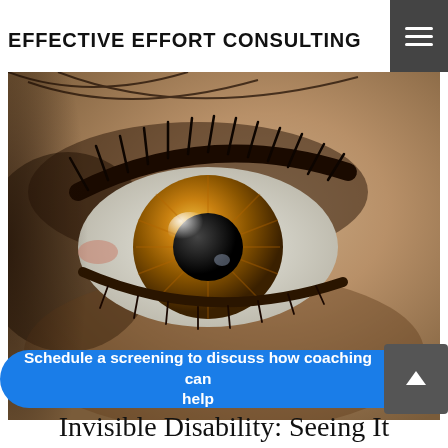EFFECTIVE EFFORT CONSULTING
[Figure (photo): Extreme close-up photograph of a human eye with hazel/amber iris, detailed eyelashes, and skin texture visible]
Schedule a screening to discuss how coaching can help
Invisible Disability: Seeing It